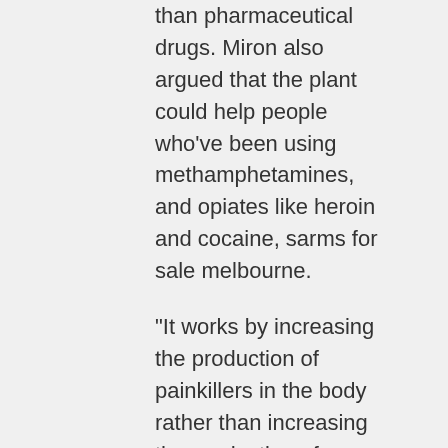than pharmaceutical drugs. Miron also argued that the plant could help people who've been using methamphetamines, and opiates like heroin and cocaine, sarms for sale melbourne.
"It works by increasing the production of painkillers in the body rather than increasing the production of chemicals that are harmful to the body," Miron wrote.
Miron's research sparked an intense debate among the medical community and a handful of lawmakers in Congress.
"As someone who believes that marijuana should be available to all Americans as a medicine, I see the importance in not putting drugs in the hands of terrorists," Representative Jared Polis, D-Colo, sarms for sale ireland., told The Washington Post